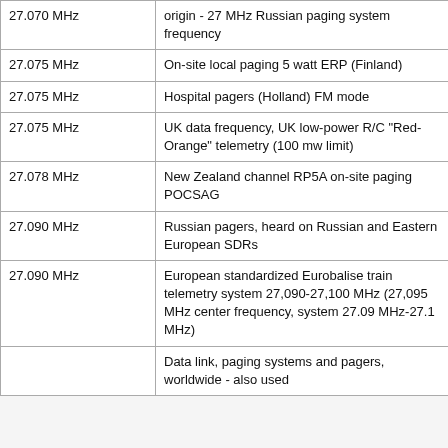| Frequency | Description |
| --- | --- |
| 27.070 MHz | origin - 27 MHz Russian paging system frequency |
| 27.075 MHz | On-site local paging 5 watt ERP (Finland) |
| 27.075 MHz | Hospital pagers (Holland) FM mode |
| 27.075 MHz | UK data frequency, UK low-power R/C "Red-Orange" telemetry (100 mw limit) |
| 27.078 MHz | New Zealand channel RP5A on-site paging POCSAG |
| 27.090 MHz | Russian pagers, heard on Russian and Eastern European SDRs |
| 27.090 MHz | European standardized Eurobalise train telemetry system 27,090-27,100 MHz (27,095 MHz center frequency, system 27.09 MHz-27.1 MHz) |
|  | Data link, paging systems and pagers, worldwide - also used |